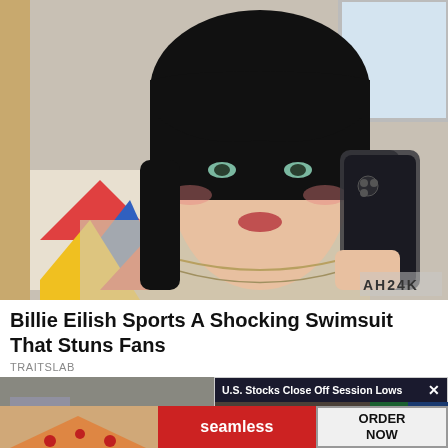[Figure (photo): Young woman with dark short hair and bangs taking a mirror selfie, holding an iPhone, wearing a beige top and layered necklaces, colorful art visible in background]
Billie Eilish Sports A Shocking Swimsuit That Stuns Fans
TRAITSLAB
[Figure (photo): Bottom left partial photo showing interior scene]
[Figure (screenshot): Popup news banner: U.S. Stocks Close Off Session Lows — video frame showing older man looking up, with close button X]
[Figure (photo): Advertisement strip: seamless logo on red background, ORDER NOW button]